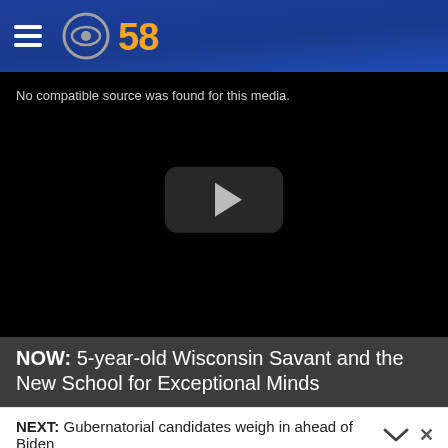CBS 58
[Figure (screenshot): Video player showing black screen with error message 'No compatible source was found for this media.' and a play button in the center.]
NOW: 5-year-old Wisconsin Savant and the New School for Exceptional Minds
NEXT: Gubernatorial candidates weigh in ahead of Biden
[Figure (other): Advertisement banner with 35% OFF badge and food product images.]